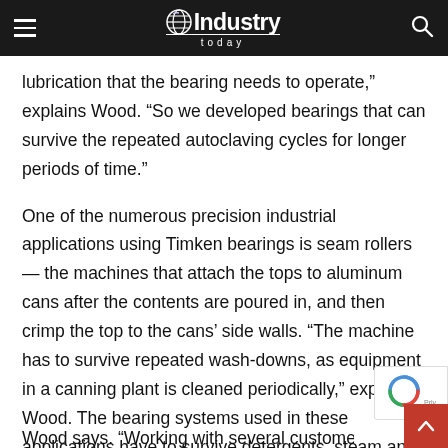Industry Today
lubrication that the bearing needs to operate,” explains Wood. “So we developed bearings that can survive the repeated autoclaving cycles for longer periods of time.”
One of the numerous precision industrial applications using Timken bearings is seam rollers — the machines that attach the tops to aluminum cans after the contents are poured in, and then crimp the top to the cans’ side walls. “The machine has to survive repeated wash-downs, as equipment in a canning plant is cleaned periodically,” explains Wood. The bearing systems used in these applications have to survive detergents, steam and water — “not a particularly good environment for bearing…” Wood says. “Working with several customers, we w… able to develop bearings that survive well in these kinds…